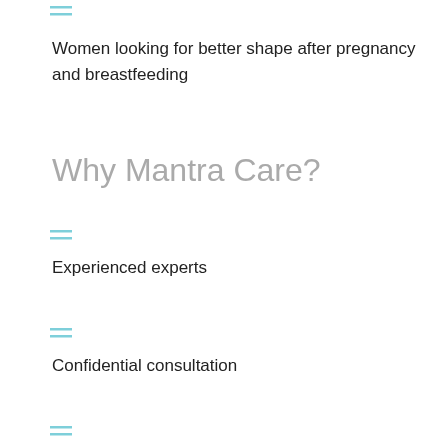[Figure (other): Two horizontal teal/cyan lines icon]
Women looking for better shape after pregnancy and breastfeeding
Why Mantra Care?
[Figure (other): Two horizontal teal/cyan lines icon]
Experienced experts
[Figure (other): Two horizontal teal/cyan lines icon]
Confidential consultation
[Figure (other): Two horizontal teal/cyan lines icon]